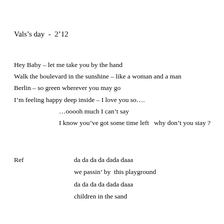Vals's day  -  2'12
Hey Baby – let me take you by the hand
Walk the boulevard in the sunshine – like a woman and a man
Berlin – so green wherever you may go
I'm feeling happy deep inside – I love you so….
    …ooooh much I can't say
    I know you've got some time left  why don't you stay ?
Ref              da da da da dada daaa
                 we passin' by  this playground
                 da da da da dada daaa
                 children in the sand